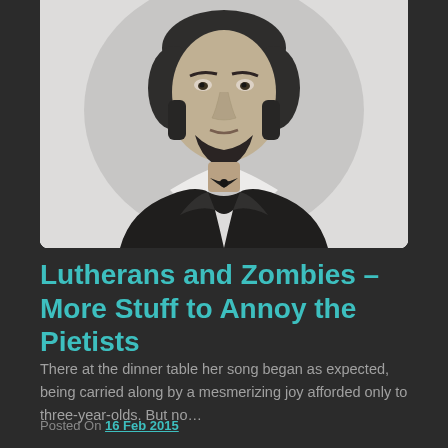[Figure (photo): Black and white portrait photograph of an older man with a beard, wearing a dark jacket and white shirt with a bow tie, shown from the chest up against a white background]
Lutherans and Zombies – More Stuff to Annoy the Pietists
There at the dinner table her song began as expected, being carried along by a mesmerizing joy afforded only to three-year-olds. But no…
Posted On 16 Feb 2015